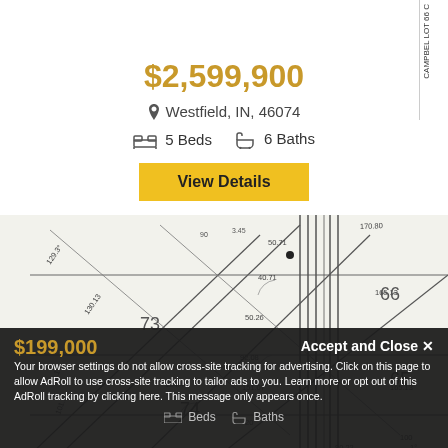$2,599,900
Westfield, IN, 46074
5 Beds  6 Baths
View Details
[Figure (engineering-diagram): Land plat/survey map showing lots 65, 66, 73, 74 with dimensions and boundary lines at an angle]
$199,000
Accept and Close ✕
Your browser settings do not allow cross-site tracking for advertising. Click on this page to allow AdRoll to use cross-site tracking to tailor ads to you. Learn more or opt out of this AdRoll tracking by clicking here. This message only appears once.
Beds  Baths